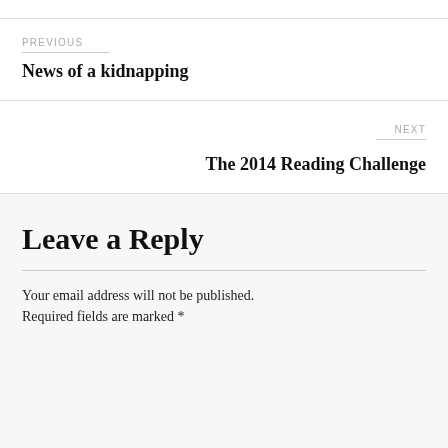PREVIOUS
News of a kidnapping
NEXT
The 2014 Reading Challenge
Leave a Reply
Your email address will not be published. Required fields are marked *